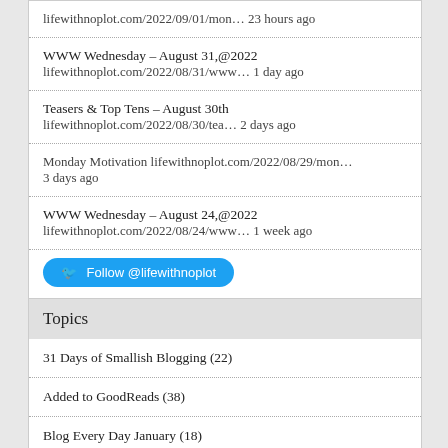lifewithnoplot.com/2022/09/01/mon… 23 hours ago
WWW Wednesday – August 31,@2022 lifewithnoplot.com/2022/08/31/www… 1 day ago
Teasers & Top Tens – August 30th lifewithnoplot.com/2022/08/30/tea… 2 days ago
Monday Motivation lifewithnoplot.com/2022/08/29/mon… 3 days ago
WWW Wednesday – August 24,@2022 lifewithnoplot.com/2022/08/24/www… 1 week ago
Follow @lifewithnoplot
Topics
31 Days of Smallish Blogging (22)
Added to GoodReads (38)
Blog Every Day January (18)